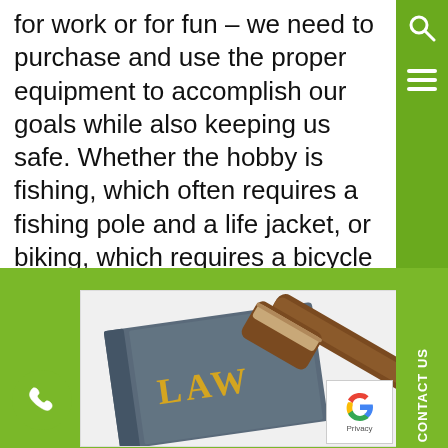for work or for fun – we need to purchase and use the proper equipment to accomplish our goals while also keeping us safe. Whether the hobby is fishing, which often requires a fishing pole and a life jacket, or biking, which requires a bicycle …
[Figure (photo): A law book with 'LAW' written in gold letters on its cover, with a wooden judge's gavel resting on top of it, on a white background.]